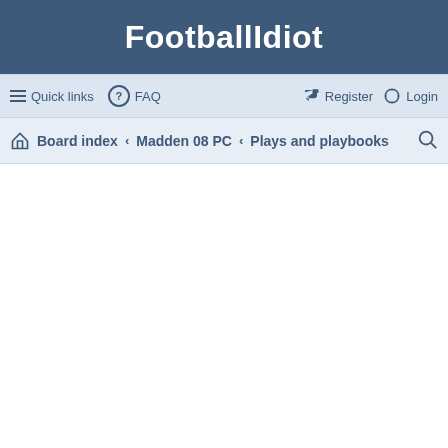FootballIdiot
Quick links  FAQ  Register  Login
Board index › Madden 08 PC › Plays and playbooks